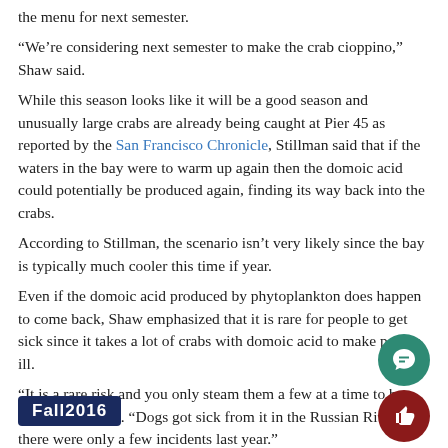the menu for next semester.
“We’re considering next semester to make the crab cioppino,” Shaw said.
While this season looks like it will be a good season and unusually large crabs are already being caught at Pier 45 as reported by the San Francisco Chronicle, Stillman said that if the waters in the bay were to warm up again then the domoic acid could potentially be produced again, finding its way back into the crabs.
According to Stillman, the scenario isn’t very likely since the bay is typically much cooler this time if year.
Even if the domoic acid produced by phytoplankton does happen to come back, Shaw emphasized that it is rare for people to get sick since it takes a lot of crabs with domoic acid to make people ill.
“It is a rare risk and you only steam them a few at a time to be safe,” Shaw said. “Dogs got sick from it in the Russian River, but there were only a few incidents last year.”
Fall2016